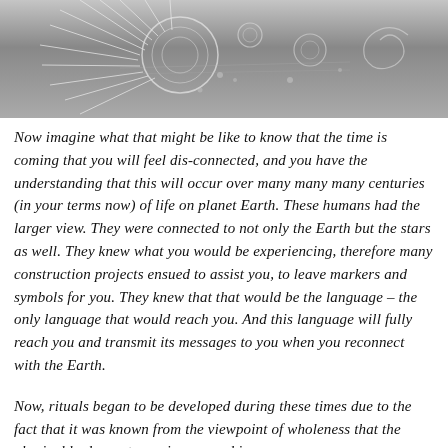[Figure (photo): Black and white aerial or overhead photograph of crop circles or ground markings, showing intricate circular patterns, radiating lines, spirals, and geometric designs on a dark field surface.]
Now imagine what that might be like to know that the time is coming that you will feel dis-connected, and you have the understanding that this will occur over many many many centuries (in your terms now) of life on planet Earth. These humans had the larger view. They were connected to not only the Earth but the stars as well. They knew what you would be experiencing, therefore many construction projects ensued to assist you, to leave markers and symbols for you. They knew that that would be the language – the only language that would reach you. And this language will fully reach you and transmit its messages to you when you reconnect with the Earth.
Now, rituals began to be developed during these times due to the fact that it was known from the viewpoint of wholeness that the physical body must remain engaged in